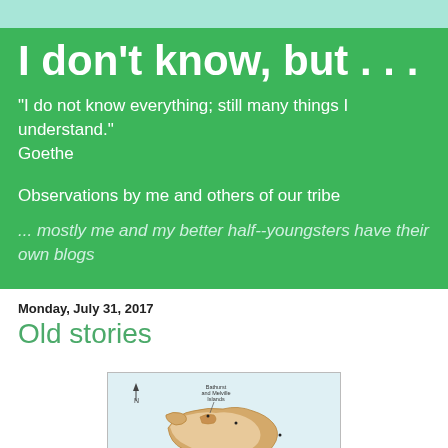I don't know, but . . .
"I do not know everything; still many things I understand." Goethe
Observations by me and others of our tribe
... mostly me and my better half--youngsters have their own blogs
Monday, July 31, 2017
Old stories
[Figure (map): Map showing Bathurst and Melville Islands, coastline during a past period, and Cairns and Fitzroy Island marked on the right side. North arrow indicated.]